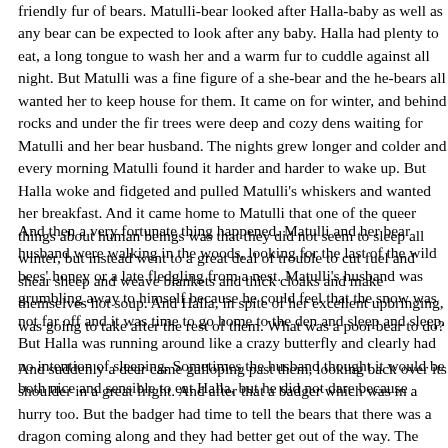friendly fur of bears. Matulli-bear looked after Halla-baby as well as any bear can be expected to look after any baby. Halla had plenty to eat, a long tongue to wash her and a warm fur to cuddle against all night. But Matulli was a fine figure of a she-bear and the he-bears all wanted her to keep house for them. It came on for winter, and behind rocks and under the fir trees were deep and cozy dens waiting for Matulli and her bear husband. The nights grew longer and colder and every morning Matulli found it harder and harder to wake up. But Halla woke and fidgeted and pulled Matulli's whiskers and wanted her breakfast. And it came home to Matulli that one of the queer things about human beings was that they did not seem to sleep all winter, but instead went to a great deal of trouble to cut fuel and shear sheep and weave blankets and thick cloaks and make themselves hot soup. And Halla, in spite of her excellent upbringing, was going to take after the rest of them. What was a poor bear to do?
And then a very fortunate thing happened. Matulli and her bear husband were walking in the woods, looking for the last of the wild bees' honey or a late fledgling from a nest. Matulli's husband was grumbling away to himself because he could feel that the snow was not far off and it was time to go home to the den and sleep and sleep. But Halla was running around like a crazy butterfly and clearly had no intention of sleeping. Sometimes the husband thought it would be both nice and sensible to eat Halla, but he did not dare because
And suddenly a deer came galloping past them, looking back over its shoulder in a great fright. And after that a badger which was in a hurry too. But the badger had time to tell the bears that there was a dragon coming along and they had better get out of the way. The bear turned round at once and went galumphing back; never had his den seemed so very desirable. But Matulli sat back among the cranberry bushes in the wet moss and